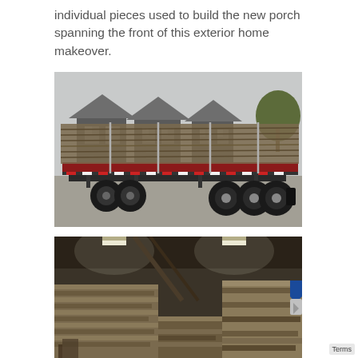individual pieces used to build the new porch spanning the front of this exterior home makeover.
[Figure (photo): A flatbed semi-truck loaded with long lumber planks strapped down, parked on a gravel lot with small shed-style buildings visible in the background.]
[Figure (photo): Interior of a warehouse with stacked piles of rough-cut lumber boards under artificial lighting.]